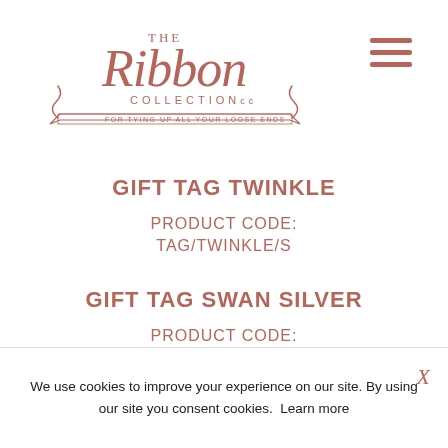The Ribbon Collection cc — For tying up all your loose ends
GIFT TAG TWINKLE
PRODUCT CODE:
TAG/TWINKLE/S
GIFT TAG SWAN SILVER
PRODUCT CODE:
TAG/SWAN/S
We use cookies to improve your experience on our site. By using our site you consent cookies. Learn more